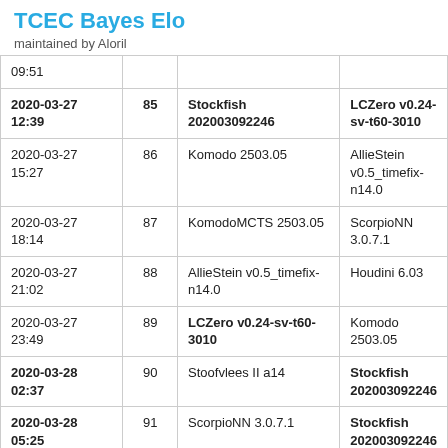TCEC Bayes Elo
maintained by Aloril
| Date | # | White | Black |
| --- | --- | --- | --- |
| 09:51 |  |  |  |
| 2020-03-27 12:39 | 85 | Stockfish 202003092246 | LCZero v0.24-sv-t60-3010 |
| 2020-03-27 15:27 | 86 | Komodo 2503.05 | AllieStein v0.5_timefix-n14.0 |
| 2020-03-27 18:14 | 87 | KomodoMCTS 2503.05 | ScorpioNN 3.0.7.1 |
| 2020-03-27 21:02 | 88 | AllieStein v0.5_timefix-n14.0 | Houdini 6.03 |
| 2020-03-27 23:49 | 89 | LCZero v0.24-sv-t60-3010 | Komodo 2503.05 |
| 2020-03-28 02:37 | 90 | Stoofvlees II a14 | Stockfish 202003092246 |
| 2020-03-28 05:25 | 91 | ScorpioNN 3.0.7.1 | Stockfish 202003092246 |
| 2020-03-28 08:12 | 92 | Stoofvlees II a14 | Komodo 2503.05 |
|  |  |  |  |